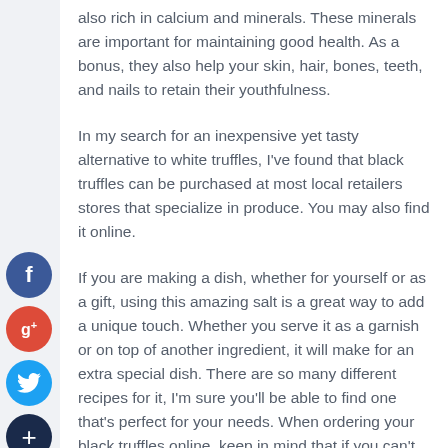also rich in calcium and minerals. These minerals are important for maintaining good health. As a bonus, they also help your skin, hair, bones, teeth, and nails to retain their youthfulness.
In my search for an inexpensive yet tasty alternative to white truffles, I've found that black truffles can be purchased at most local retailers stores that specialize in produce. You may also find it online.
If you are making a dish, whether for yourself or as a gift, using this amazing salt is a great way to add a unique touch. Whether you serve it as a garnish or on top of another ingredient, it will make for an extra special dish. There are so many different recipes for it, I'm sure you'll be able to find one that's perfect for your needs. When ordering your black truffles online, keep in mind that if you can't find what you're looking for locally, don't hesitate to